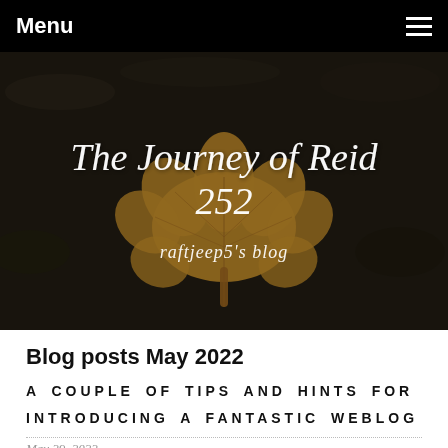Menu
[Figure (photo): Dark background with autumn leaf, blog header image with cursive title 'The Journey of Reid 252' and subtitle 'raftjeep5's blog']
The Journey of Reid 252
raftjeep5's blog
Blog posts May 2022
A COUPLE OF TIPS AND HINTS FOR INTRODUCING A FANTASTIC WEBLOG
May 29, 2022